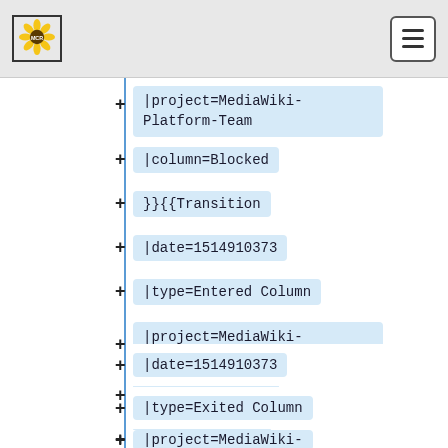[MCR] logo and hamburger menu
|project=MediaWiki-Platform-Team
|column=Blocked
}}{{Transition
|date=1514910373
|type=Entered Column
|project=MediaWiki-Platform-Team
|column=Blocked
}}{{Transition
|date=1514910373
|type=Exited Column
|project=MediaWiki-Platform-Team (cut off)